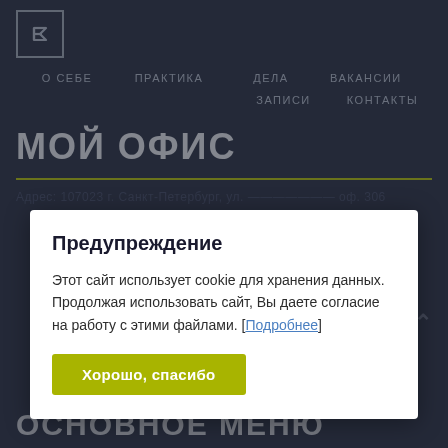[Figure (logo): Logo box with stylized letter F or arrow icon in white on dark background with border]
О СЕБЕ   ПРАКТИКА   ДЕЛА   ВАКАНСИИ   ЗАПИСИ   КОНТАКТЫ
МОЙ ОФИС
Предупреждение
Этот сайт использует cookie для хранения данных. Продолжая использовать сайт, Вы даете согласие на работу с этими файлами. [Подробнее]
Хорошо, спасибо
ОСНОВНОЕ МЕНЮ